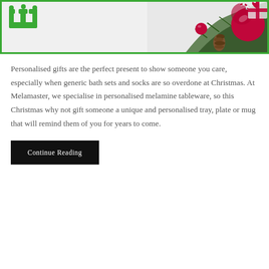[Figure (photo): Banner image with a green-bordered rectangle. Left side shows a green 'M' crown logo on light grey background. Right side shows Christmas decorations: red baubles, candy cane, pine cones, and wrapped gift with red ribbon.]
Personalised gifts are the perfect present to show someone you care, especially when generic bath sets and socks are so overdone at Christmas. At Melamaster, we specialise in personalised melamine tableware, so this Christmas why not gift someone a unique and personalised tray, plate or mug that will remind them of you for years to come.
Continue Reading